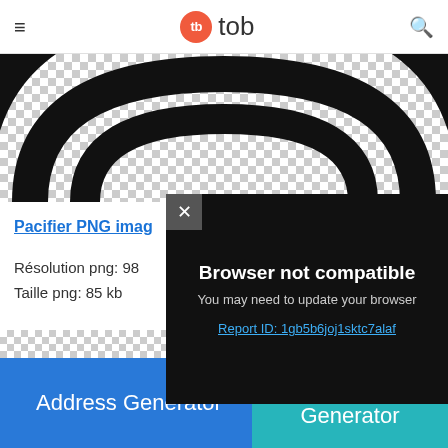tb tob
[Figure (illustration): Checkerboard transparent background with black concentric arc rings of a pacifier image cropped at top]
Pacifier PNG imag...
Résolution png: 98...
Taille png: 85 kb
PNG Télécharger
Powered by GliaStudio
[Figure (screenshot): Dark modal dialog: 'Browser not compatible — You may need to update your browser — Report ID: 1gb5b6joj1sktc7alaf']
Address Generator
Cool Text Generator